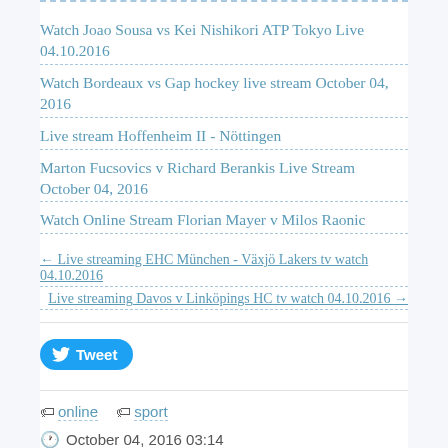Watch Joao Sousa vs Kei Nishikori ATP Tokyo Live 04.10.2016
Watch Bordeaux vs Gap hockey live stream October 04, 2016
Live stream Hoffenheim II - Nöttingen
Marton Fucsovics v Richard Berankis Live Stream October 04, 2016
Watch Online Stream Florian Mayer v Milos Raonic
← Live streaming EHC München - Växjö Lakers tv watch 04.10.2016
Live streaming Davos v Linköpings HC tv watch 04.10.2016 →
Tweet
online  sport
October 04, 2016 03:14
Permalink